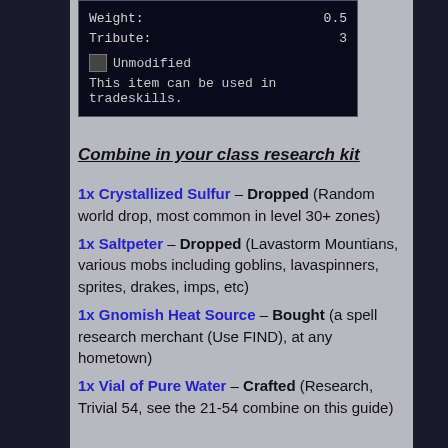[Figure (screenshot): In-game item tooltip box showing Weight: 0.5, Tribute: 3, Unmodified status icon, and text 'This item can be used in tradeskills.']
Combine in your class research kit
1x Crystallized Sulfur – Dropped (Random world drop, most common in level 30+ zones)
1x Saltpeter – Dropped (Lavastorm Mountians, various mobs including goblins, lavaspinners, sprites, drakes, imps, etc)
1x Gnomish Heat Source – Bought (a spell research merchant (Use FIND), at any hometown)
1x Vial of Pure Water – Crafted (Research, Trivial 54, see the 21-54 combine on this guide)